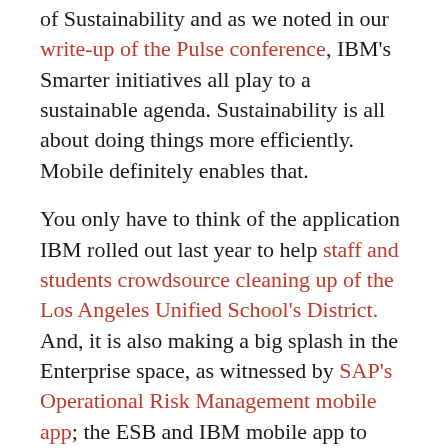of Sustainability and as we noted in our write-up of the Pulse conference, IBM's Smarter initiatives all play to a sustainable agenda. Sustainability is all about doing things more efficiently. Mobile definitely enables that.
You only have to think of the application IBM rolled out last year to help staff and students crowdsource cleaning up of the Los Angeles Unified School's District. And, it is also making a big splash in the Enterprise space, as witnessed by SAP's Operational Risk Management mobile app; the ESB and IBM mobile app to help finding and scheduling charging of electric vehicles in Ireland and many similar initiatives.